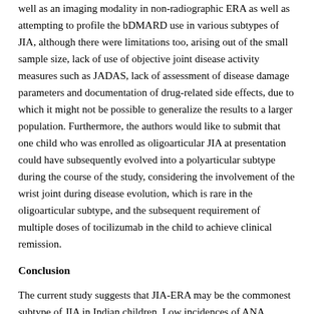well as an imaging modality in non-radiographic ERA as well as attempting to profile the bDMARD use in various subtypes of JIA, although there were limitations too, arising out of the small sample size, lack of use of objective joint disease activity measures such as JADAS, lack of assessment of disease damage parameters and documentation of drug-related side effects, due to which it might not be possible to generalize the results to a larger population. Furthermore, the authors would like to submit that one child who was enrolled as oligoarticular JIA at presentation could have subsequently evolved into a polyarticular subtype during the course of the study, considering the involvement of the wrist joint during disease evolution, which is rare in the oligoarticular subtype, and the subsequent requirement of multiple doses of tocilizumab in the child to achieve clinical remission.
Conclusion
The current study suggests that JIA-ERA may be the commonest subtype of JIA in Indian children. Low incidences of ANA positivity, uveitis, and rheumatoid nodules are unique features exclusive to the Indian children. MRI of the SI joint is emerging as an important tool for diagnosing sacroiliitis in JIA. bDMARDs in the form of TNFi and tocilizumab are now being increasingly used for disease control